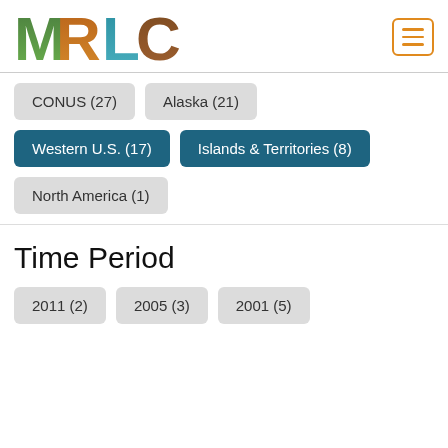[Figure (logo): MRLC logo with nature-themed letters M R L C in green, orange, teal, and brown]
CONUS (27)
Alaska (21)
Western U.S. (17)
Islands & Territories (8)
North America (1)
Time Period
2011 (2)
2005 (3)
2001 (5)